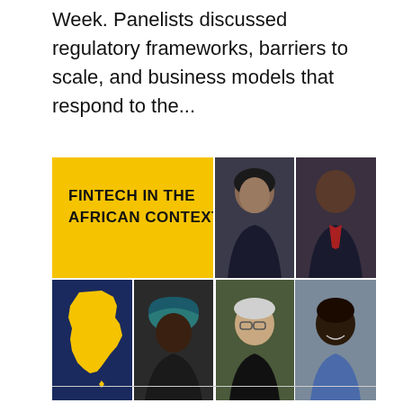Week. Panelists discussed regulatory frameworks, barriers to scale, and business models that respond to the...
[Figure (photo): Promotional image for 'Fintech in the African Context' panel event, showing a yellow panel with bold text and Africa map silhouette in navy blue, alongside headshots of six panelists (three women, three men) of diverse backgrounds.]